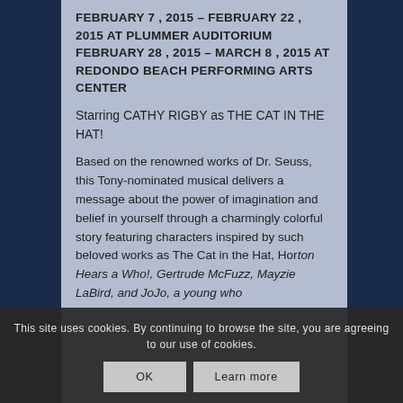FEBRUARY 7 , 2015 – FEBRUARY 22 , 2015 AT PLUMMER AUDITORIUM FEBRUARY 28 , 2015 – MARCH 8 , 2015 AT REDONDO BEACH PERFORMING ARTS CENTER
Starring CATHY RIGBY as THE CAT IN THE HAT!
Based on the renowned works of Dr. Seuss, this Tony-nominated musical delivers a message about the power of imagination and belief in yourself through a charmingly colorful story featuring characters inspired by such beloved works as The Cat in the Hat, Horton Hears a Who!, Gertrude McFuzz, Mayzie LaBird, and JoJo, a young who
This site uses cookies. By continuing to browse the site, you are agreeing to our use of cookies.